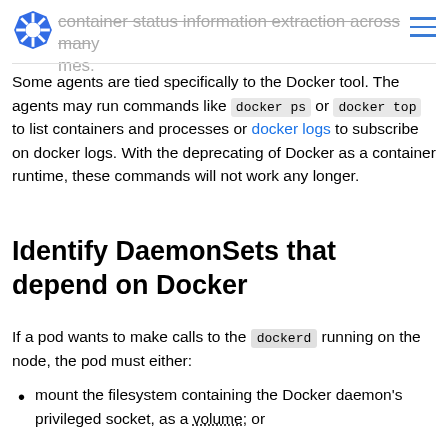container status information extraction across many names.
Some agents are tied specifically to the Docker tool. The agents may run commands like docker ps or docker top to list containers and processes or docker logs to subscribe on docker logs. With the deprecating of Docker as a container runtime, these commands will not work any longer.
Identify DaemonSets that depend on Docker
If a pod wants to make calls to the dockerd running on the node, the pod must either:
mount the filesystem containing the Docker daemon's privileged socket, as a volume; or